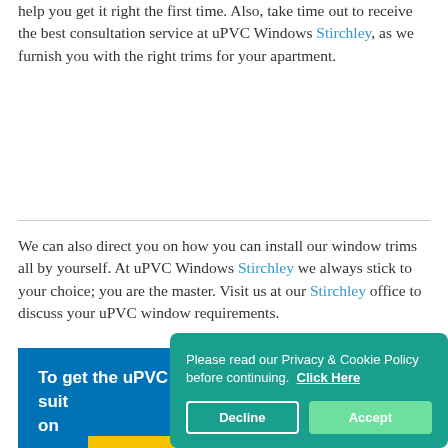help you get it right the first time. Also, take time out to receive the best consultation service at uPVC Windows Stirchley, as we furnish you with the right trims for your apartment.
We can also direct you on how you can install our window trims all by yourself. At uPVC Windows Stirchley we always stick to your choice; you are the master. Visit us at our Stirchley office to discuss your uPVC window requirements.
To get the uPVC window trims that suit contact us on now.
Please read our Privacy & Cookie Policy before continuing. Click Here
Decline
Accept